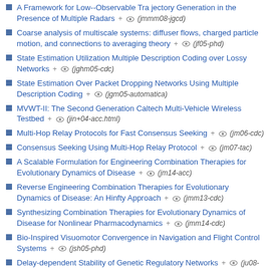A Framework for Low--Observable Trajectory Generation in the Presence of Multiple Radars + 👁 (jmmm08-jgcd)
Coarse analysis of multiscale systems: diffuser flows, charged particle motion, and connections to averaging theory + 👁 (jf05-phd)
State Estimation Utilization Multiple Description Coding over Lossy Networks + 👁 (jghm05-cdc)
State Estimation Over Packet Dropping Networks Using Multiple Description Coding + 👁 (jgm05-automatica)
MVWT-II: The Second Generation Caltech Multi-Vehicle Wireless Testbed + 👁 (jin+04-acc.html)
Multi-Hop Relay Protocols for Fast Consensus Seeking + 👁 (jm06-cdc)
Consensus Seeking Using Multi-Hop Relay Protocol + 👁 (jm07-tac)
A Scalable Formulation for Engineering Combination Therapies for Evolutionary Dynamics of Disease + 👁 (jm14-acc)
Reverse Engineering Combination Therapies for Evolutionary Dynamics of Disease: An Hinfty Approach + 👁 (jmm13-cdc)
Synthesizing Combination Therapies for Evolutionary Dynamics of Disease for Nonlinear Pharmacodynamics + 👁 (jmm14-cdc)
Bio-Inspired Visuomotor Convergence in Navigation and Flight Control Systems + 👁 (jsh05-phd)
Delay-dependent Stability of Genetic Regulatory Networks + 👁 (ju08-ms)
An Experimental Comparison of Controllers for a Vectored Thrust...